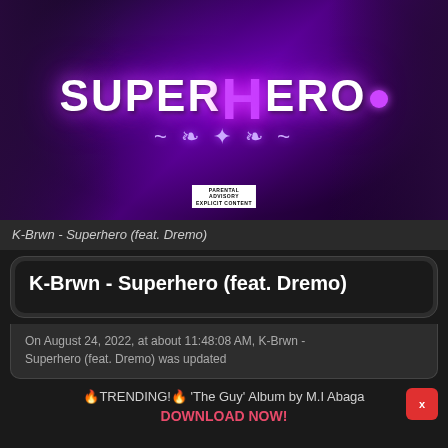[Figure (illustration): Album artwork for K-Brwn - Superhero (feat. Dremo). Purple and blue themed background with stylized glowing text 'SUPERHERO' with a lightning bolt H in the center, decorative scrollwork beneath, and an explicit content badge at the bottom.]
K-Brwn - Superhero (feat. Dremo)
K-Brwn - Superhero (feat. Dremo)
On August 24, 2022, at about 11:48:08 AM, K-Brwn - Superhero (feat. Dremo) was updated
🔥TRENDING!🔥 'The Guy' Album by M.I Abaga
DOWNLOAD NOW!